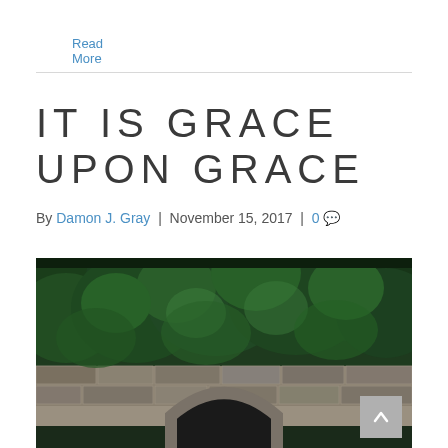Read More
IT IS GRACE UPON GRACE
By Damon J. Gray | November 15, 2017 | 0
[Figure (photo): A stone arch bridge with lush green trees and forest in the background, photographed in a moody dark-green tone.]